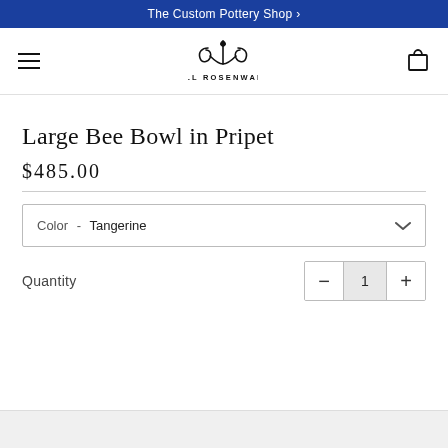The Custom Pottery Shop ›
[Figure (logo): Jill Rosenwald brand logo with decorative monogram icon and text JILL ROSENWALD]
Large Bee Bowl in Pripet
$485.00
Color  -  Tangerine
Quantity  1